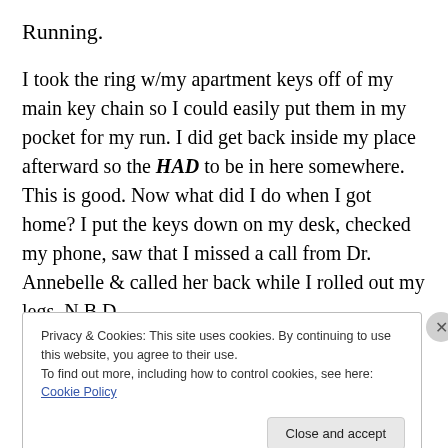Running.
I took the ring w/my apartment keys off of my main key chain so I could easily put them in my pocket for my run. I did get back inside my place afterward so the HAD to be in here somewhere. This is good. Now what did I do when I got home? I put the keys down on my desk, checked my phone, saw that I missed a call from Dr. Annebelle & called her back while I rolled out my legs. N.B.D.
Right?
Privacy & Cookies: This site uses cookies. By continuing to use this website, you agree to their use.
To find out more, including how to control cookies, see here: Cookie Policy